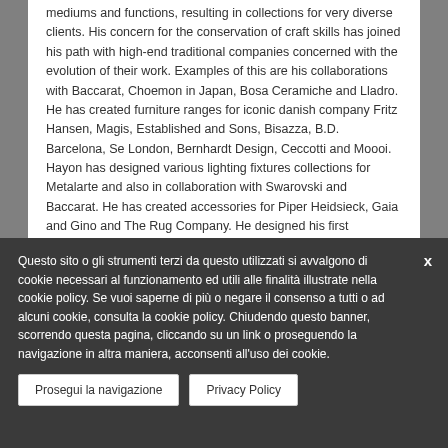mediums and functions, resulting in collections for very diverse clients. His concern for the conservation of craft skills has joined his path with high-end traditional companies concerned with the evolution of their work. Examples of this are his collaborations with Baccarat, Choemon in Japan, Bosa Ceramiche and Lladro. He has created furniture ranges for iconic danish company Fritz Hansen, Magis, Established and Sons, Bisazza, B.D. Barcelona, Se London, Bernhardt Design, Ceccotti and Moooi. Hayon has designed various lighting fixtures collections for Metalarte and also in collaboration with Swarovski and Baccarat. He has created accessories for Piper Heidsieck, Gaia and Gino and The Rug Company. He designed his first wristwatch collection for a new Swiss watch brand OROLOG which launched in late 2013. These collections have put Jaime at the forefront a new wave of
Questo sito o gli strumenti terzi da questo utilizzati si avvalgono di cookie necessari al funzionamento ed utili alle finalità illustrate nella cookie policy. Se vuoi saperne di più o negare il consenso a tutti o ad alcuni cookie, consulta la cookie policy. Chiudendo questo banner, scorrendo questa pagina, cliccando su un link o proseguendo la navigazione in altra maniera, acconsenti all'uso dei cookie.
Prosegui la navigazione
Privacy Policy